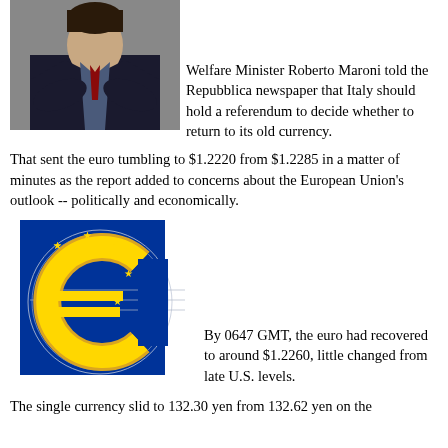[Figure (photo): Black and white photo of a man in a suit, cropped to show upper body, arms crossed]
Welfare Minister Roberto Maroni told the Repubblica newspaper that Italy should hold a referendum to decide whether to return to its old currency.
That sent the euro tumbling to $1.2220 from $1.2285 in a matter of minutes as the report added to concerns about the European Union's outlook -- politically and economically.
[Figure (illustration): Euro currency symbol (€) in gold/yellow color on a blue EU flag background with stars, overlaid on a circular design with lines]
By 0647 GMT, the euro had recovered to around $1.2260, little changed from late U.S. levels.
The single currency slid to 132.30 yen from 132.62 yen on the